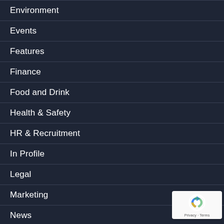Environment
Events
Features
Finance
Food and Drink
Health & Safety
HR & Recruitment
In Profile
Legal
Marketing
News
Sponsored Content
Technology